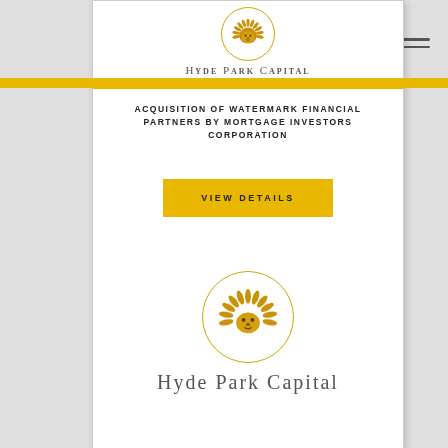[Figure (logo): Hyde Park Capital logo - golden lion head in circle with 'Hyde Park Capital' text below]
ACQUISITION OF WATERMARK FINANCIAL PARTNERS BY MORTGAGE INVESTORS CORPORATION
[Figure (other): Yellow 'VIEW DETAILS' button]
[Figure (logo): Hyde Park Capital logo large - golden lion head in circle with 'Hyde Park Capital' text below]